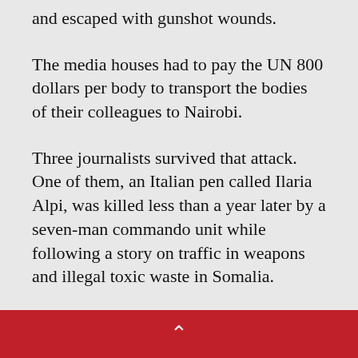and escaped with gunshot wounds.
The media houses had to pay the UN 800 dollars per body to transport the bodies of their colleagues to Nairobi.
Three journalists survived that attack. One of them, an Italian pen called Ilaria Alpi, was killed less than a year later by a seven-man commando unit while following a story on traffic in weapons and illegal toxic waste in Somalia.
See a more concise chronology of attacks on Kenyan Press on Ajua Press [Link].
^